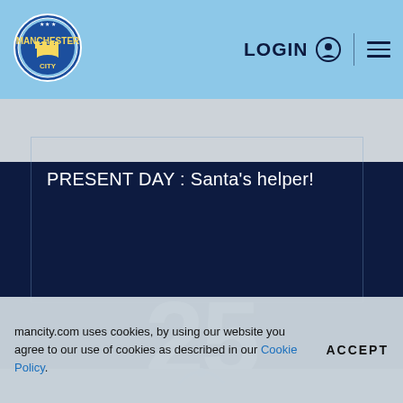[Figure (logo): Manchester City FC circular crest logo on light blue header background]
LOGIN
PRESENT DAY : Santa's helper!
25
mancity.com uses cookies, by using our website you agree to our use of cookies as described in our Cookie Policy.
ACCEPT